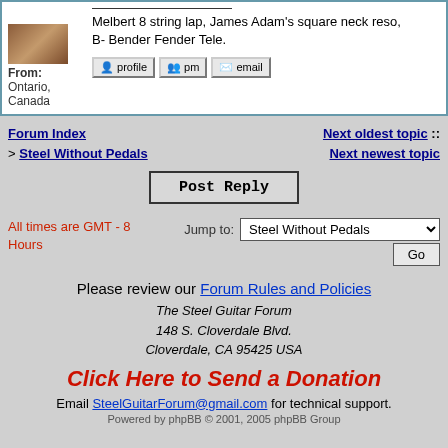Melbert 8 string lap, James Adam's square neck reso, B- Bender Fender Tele.
From: Ontario, Canada
Forum Index > Steel Without Pedals | Next oldest topic :: Next newest topic
Post Reply
All times are GMT - 8 Hours
Jump to: Steel Without Pedals
Please review our Forum Rules and Policies
The Steel Guitar Forum
148 S. Cloverdale Blvd.
Cloverdale, CA 95425 USA
Click Here to Send a Donation
Email SteelGuitarForum@gmail.com for technical support.
Powered by phpBB © 2001, 2005 phpBB Group